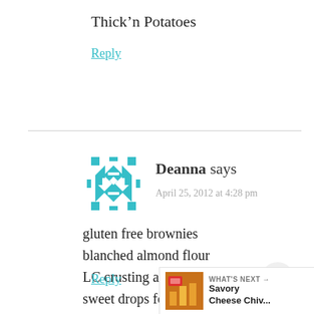Thick'n Potatoes
Reply
Deanna says
April 25, 2012 at 4:28 pm
gluten free brownies
blanched almond flour
LC crusting and breading mix
sweet drops for home and travel
Reply